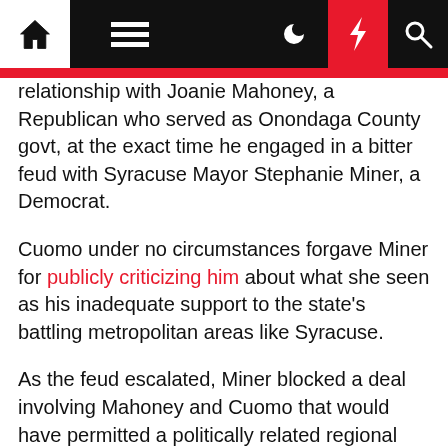Navigation bar with home, menu, moon, lightning, and search icons
relationship with Joanie Mahoney, a Republican who served as Onondaga County govt, at the exact time he engaged in a bitter feud with Syracuse Mayor Stephanie Miner, a Democrat.
Cuomo under no circumstances forgave Miner for publicly criticizing him about what she seen as his inadequate support to the state's battling metropolitan areas like Syracuse.
As the feud escalated, Miner blocked a deal involving Mahoney and Cuomo that would have permitted a politically related regional developer, Cor Growth, to create a $500 million stadium in Syracuse as a replacement to the Provider Dome.
Two Cor Improvement executives had been convicted in 2018 on federal corruption rates related